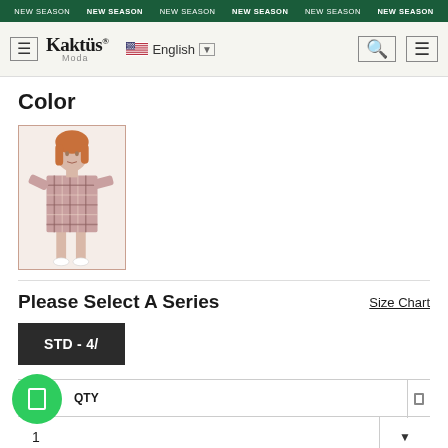NEW SEASON NEW SEASON NEW SEASON NEW SEASON NEW SEASON NEW SEASON
[Figure (logo): Kaktüs Moda logo with hamburger menu, English language selector, search and cart icons]
Color
[Figure (photo): Woman wearing a plaid/checkered shirt dress, standing full body shot as product thumbnail]
Please Select A Series
Size Chart
STD - 4/
1
Product description